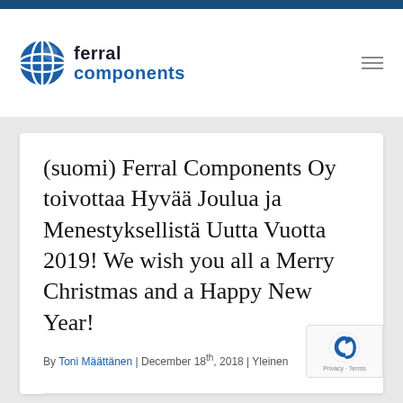[Figure (logo): Ferral Components logo with blue globe icon and text 'ferral components']
(suomi) Ferral Components Oy toivottaa Hyvää Joulua ja Menestyksellistä Uutta Vuotta 2019! We wish you all a Merry Christmas and a Happy New Year!
By Toni Määttänen | December 18th, 2018 | Yleinen